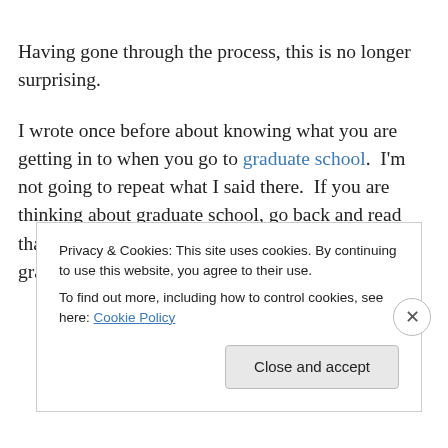Having gone through the process, this is no longer surprising.
I wrote once before about knowing what you are getting in to when you go to graduate school.  I'm not going to repeat what I said there.  If you are thinking about graduate school, go back and read that post.  I would add that if you are going to graduate school to change the
Privacy & Cookies: This site uses cookies. By continuing to use this website, you agree to their use.
To find out more, including how to control cookies, see here: Cookie Policy